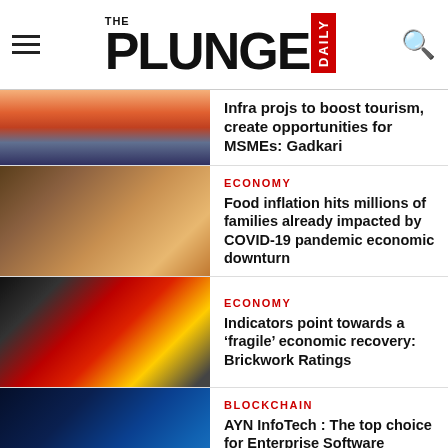THE PLUNGE DAILY
Infra projs to boost tourism, create opportunities for MSMEs: Gadkari
ECONOMY
Food inflation hits millions of families already impacted by COVID-19 pandemic economic downturn
ECONOMY
Indicators point towards a ‘fragile’ economic recovery: Brickwork Ratings
BLOCKCHAIN
AYN InfoTech : The top choice for Enterprise Software Solutions with Blockchain and Artificial Intelligence
NEWS